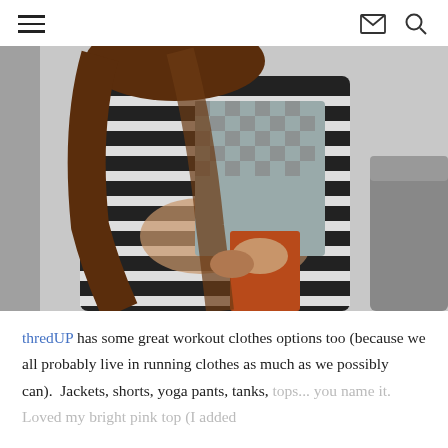≡  ✉  🔍
[Figure (photo): A woman in a black and white striped dress hugging a child wearing a checkered shirt and orange/rust pants. They are standing indoors against a light gray wall with a gray couch visible on the right.]
thredUP has some great workout clothes options too (because we all probably live in running clothes as much as we possibly can).  Jackets, shorts, yoga pants, tanks, tops... you name it.  Loved my bright pink top (I added